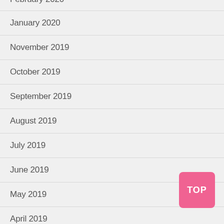February 2020 (partial, top)
January 2020
November 2019
October 2019
September 2019
August 2019
July 2019
June 2019
May 2019
April 2019
March 2019
February 2019 (partial, bottom)